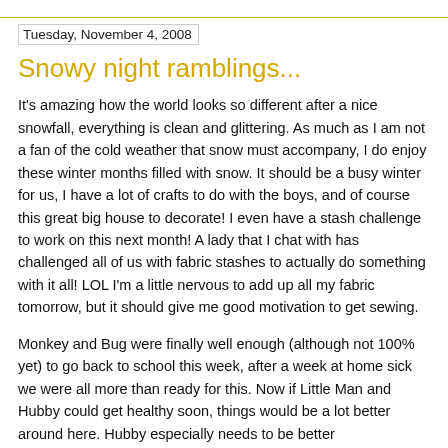Tuesday, November 4, 2008
Snowy night ramblings...
It's amazing how the world looks so different after a nice snowfall, everything is clean and glittering. As much as I am not a fan of the cold weather that snow must accompany, I do enjoy these winter months filled with snow. It should be a busy winter for us, I have a lot of crafts to do with the boys, and of course this great big house to decorate! I even have a stash challenge to work on this next month! A lady that I chat with has challenged all of us with fabric stashes to actually do something with it all! LOL I'm a little nervous to add up all my fabric tomorrow, but it should give me good motivation to get sewing.
Monkey and Bug were finally well enough (although not 100% yet) to go back to school this week, after a week at home sick we were all more than ready for this. Now if Little Man and Hubby could get healthy soon, things would be a lot better around here. Hubby especially needs to be better